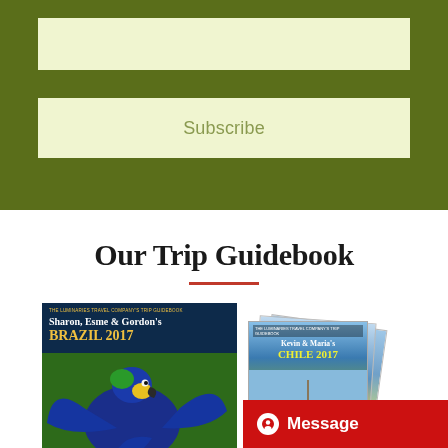[Figure (screenshot): Green background section with an empty light-yellow input box at the top, a gap, and a Subscribe button box below]
Subscribe
Our Trip Guidebook
[Figure (photo): Two travel guidebook covers shown side by side. Left cover: Sharon, Esme & Gordon's BRAZIL 2017 with a blue macaw parrot photo. Right cover: Kevin & Maria's CHILE 2017 with a fishing boat photo, with additional covers stacked behind.]
Message